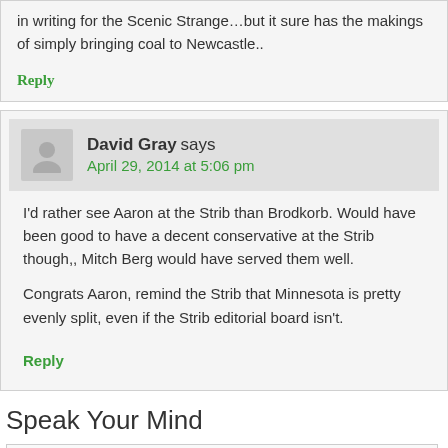in writing for the Scenic Strange…but it sure has the makings of simply bringing coal to Newcastle..
Reply
David Gray says
April 29, 2014 at 5:06 pm
I'd rather see Aaron at the Strib than Brodkorb. Would have been good to have a decent conservative at the Strib though,, Mitch Berg would have served them well.
Congrats Aaron, remind the Strib that Minnesota is pretty evenly split, even if the Strib editorial board isn't.
Reply
Speak Your Mind